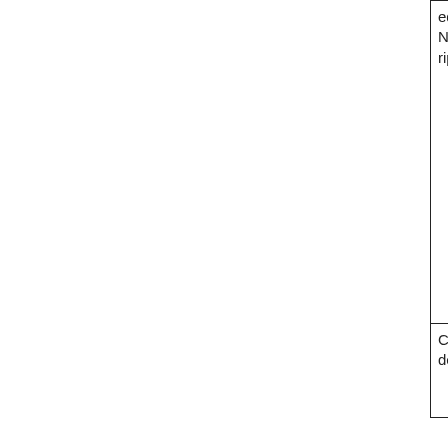|  | ed for early termination of a National Vehicle subscription. |
| Custom Code | This enumeration value is Reserved for future |